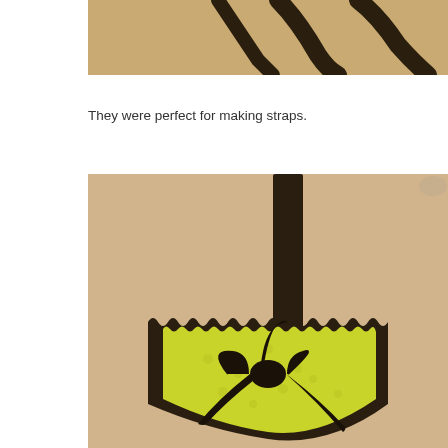[Figure (photo): Partial top photo showing a beige/tan background with dark curved lines or straps visible at the top of the frame]
They were perfect for making straps.
[Figure (photo): Close-up photo on a beige background showing a decorative craft item: a yellow/chartreuse heart or tag shape with scalloped/zigzag dark edges, a dark glittery vertical strap at the top, and a dark glittery bow tied at the front]